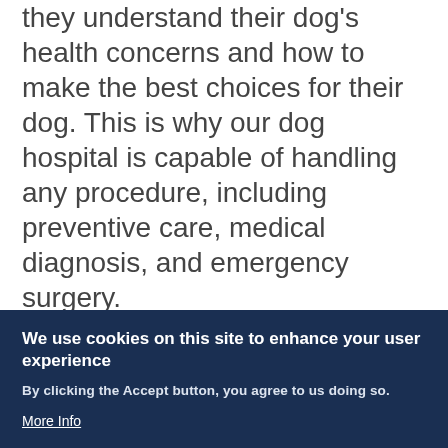communicate well with owners to make sure they understand their dog's health concerns and how to make the best choices for their dog. This is why our dog hospital is capable of handling any procedure, including preventive care, medical diagnosis, and emergency surgery.
We specialize in the following dog health services for dogs of all ages, breeds, and circumstances:
Anesthesia: We have the facilities,
We use cookies on this site to enhance your user experience
By clicking the Accept button, you agree to us doing so.
More Info